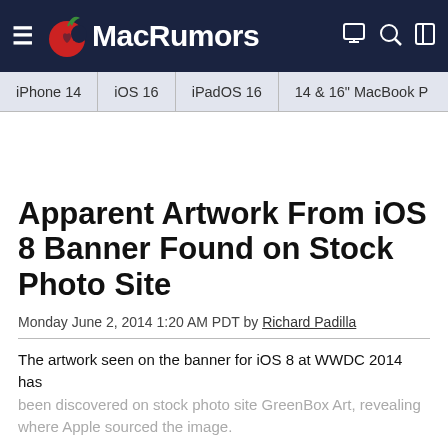MacRumors
iPhone 14 | iOS 16 | iPadOS 16 | 14 & 16" MacBook P
Apparent Artwork From iOS 8 Banner Found on Stock Photo Site
Monday June 2, 2014 1:20 AM PDT by Richard Padilla
The artwork seen on the banner for iOS 8 at WWDC 2014 has been discovered on stock photo site GreenBox Art, revealing where Apple sourced the image.